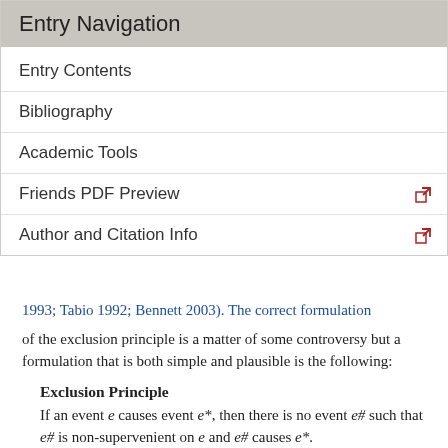Entry Navigation
Entry Contents
Bibliography
Academic Tools
Friends PDF Preview
Author and Citation Info
1993; Tabio 1992; Bennett 2003). The correct formulation of the exclusion principle is a matter of some controversy but a formulation that is both simple and plausible is the following:
Exclusion Principle
If an event e causes event e*, then there is no event e# such that e# is non-supervenient on e and e# causes e*.
The conclusion of the argument is the mental events are supervenient on physical events, or more briefly that